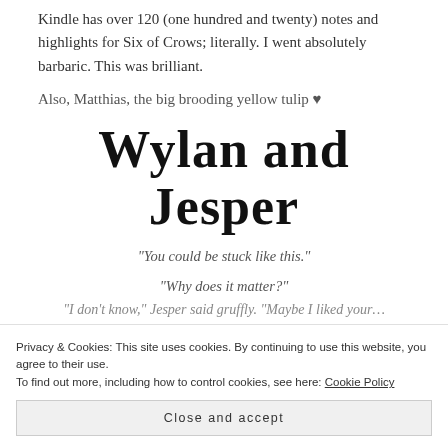Kindle has over 120 (one hundred and twenty) notes and highlights for Six of Crows; literally. I went absolutely barbaric. This was brilliant.
Also, Matthias, the big brooding yellow tulip ♥
Wylan and Jesper
“You could be stuck like this.”
“Why does it matter?”
“I don’t know,” Jesper said gruffly. “Maybe I liked your…”
Privacy & Cookies: This site uses cookies. By continuing to use this website, you agree to their use. To find out more, including how to control cookies, see here: Cookie Policy
Close and accept